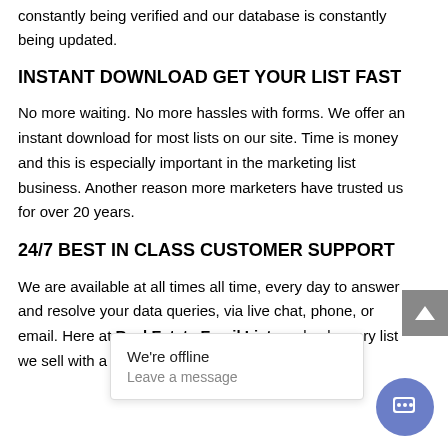constantly being verified and our database is constantly being updated.
INSTANT DOWNLOAD GET YOUR LIST FAST
No more waiting. No more hassles with forms. We offer an instant download for most lists on our site. Time is money and this is especially important in the marketing list business. Another reason more marketers have trusted us for over 20 years.
24/7 BEST IN CLASS CUSTOMER SUPPORT
We are available at all times all time, every day to answer and resolve your data queries, via live chat, phone, or email. Here at Real Estate Email List, we back every list we sell with a live courteous... your buying ex...